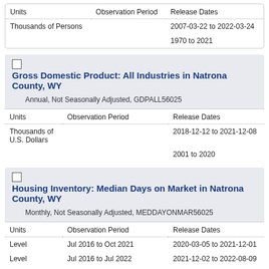| Units | Observation Period | Release Dates |
| --- | --- | --- |
| Thousands of Persons |  | 2007-03-22 to 2022-03-24 |
|  |  | 1970 to 2021 |
Gross Domestic Product: All Industries in Natrona County, WY
Annual, Not Seasonally Adjusted, GDPALL56025
| Units | Observation Period | Release Dates |
| --- | --- | --- |
| Thousands of U.S. Dollars |  | 2018-12-12 to 2021-12-08 |
|  |  | 2001 to 2020 |
Housing Inventory: Median Days on Market in Natrona County, WY
Monthly, Not Seasonally Adjusted, MEDDAYONMAR56025
| Units | Observation Period | Release Dates |
| --- | --- | --- |
| Level | Jul 2016 to Oct 2021 | 2020-03-05 to 2021-12-01 |
| Level | Jul 2016 to Jul 2022 | 2021-12-02 to 2022-08-09 |